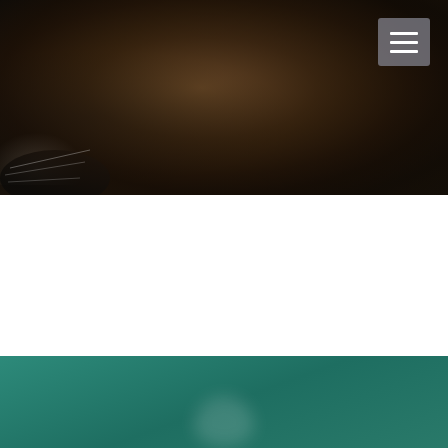[Figure (photo): Close-up photo of a dark brown/black dog's head against a white background, showing fur, nose and whisker area. A hamburger menu icon appears in the top right corner.]
We Always love to hear great feedback from our clients.  Here are a few
Gina wrote, "This place is AMAZING! I absolutely love them, as does Chewie! Tonya is so sweet and kind and she treats all the pups as if they are the only ones there. I do not really need puppy daycare, I bring him because I adore the place and the owners."